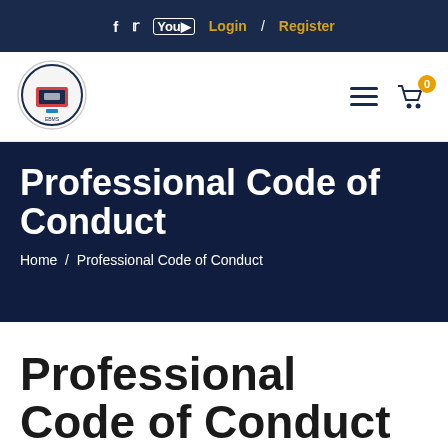f  twitter  YouTube  Login / Register
[Figure (logo): Organization circular logo with emblem]
Professional Code of Conduct
Home / Professional Code of Conduct
Professional Code of Conduct